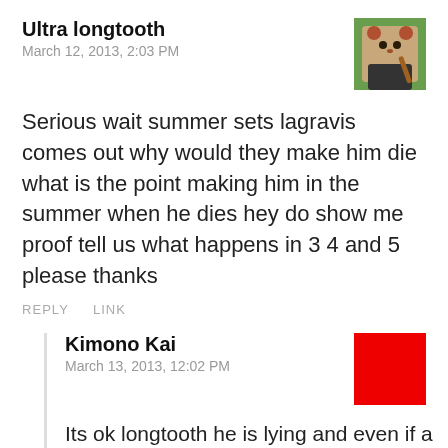Ultra longtooth
March 12, 2013, 2:03 PM
[Figure (photo): Avatar image of a cartoon red panda character holding a weapon, with green background]
Serious wait summer sets lagravis comes out why would they make him die what is the point making him in the summer when he dies hey do show me proof tell us what happens in 3 4 and 5 please thanks
REPLY   LINK
Kimono Kai
March 13, 2013, 12:02 PM
[Figure (photo): Red square avatar placeholder]
Its ok longtooth he is lying and even if a charcter dies in the tv show they still made